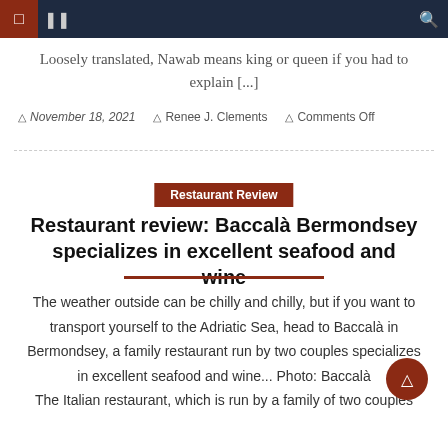Navigation bar with menu icons and search icon
Loosely translated, Nawab means king or queen if you had to explain [...]
November 18, 2021  Renee J. Clements  Comments Off
Restaurant Review
Restaurant review: Baccalà Bermondsey specializes in excellent seafood and wine
The weather outside can be chilly and chilly, but if you want to transport yourself to the Adriatic Sea, head to Baccalà in Bermondsey, a family restaurant run by two couples specializes in excellent seafood and wine... Photo: Baccala The Italian restaurant, which is run by a family of two couples